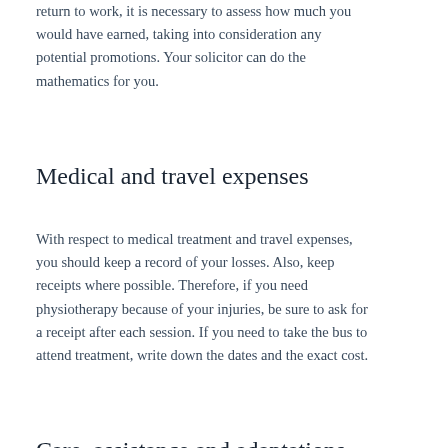return to work, it is necessary to assess how much you would have earned, taking into consideration any potential promotions. Your solicitor can do the mathematics for you.
Medical and travel expenses
With respect to medical treatment and travel expenses, you should keep a record of your losses. Also, keep receipts where possible. Therefore, if you need physiotherapy because of your injuries, be sure to ask for a receipt after each session. If you need to take the bus to attend treatment, write down the dates and the exact cost.
Care, assistance and adaptations
Your injuries may be such that you require care and/or assistance around the house. This might be provided by a loved one, or you may use a professional. To recover these costs, it is necessary to obtain a medical report stating that care and assistance are required. Even if you do not pay